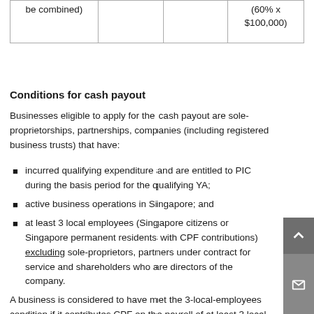|  |  |  |  |
| --- | --- | --- | --- |
| be combined) |  |  | (60% x $100,000) |
Conditions for cash payout
Businesses eligible to apply for the cash payout are sole-proprietorships, partnerships, companies (including registered business trusts) that have:
incurred qualifying expenditure and are entitled to PIC during the basis period for the qualifying YA;
active business operations in Singapore; and
at least 3 local employees (Singapore citizens or Singapore permanent residents with CPF contributions) excluding sole-proprietors, partners under contract for service and shareholders who are directors of the company.
A business is considered to have met the 3-local-employees condition if it contributes CPF on the payroll of at least 3 local